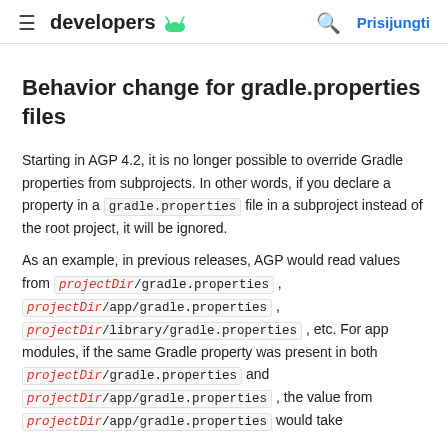≡ developers [android logo] 🔍 Prisijungti
Behavior change for gradle.properties files
Starting in AGP 4.2, it is no longer possible to override Gradle properties from subprojects. In other words, if you declare a property in a gradle.properties file in a subproject instead of the root project, it will be ignored.
As an example, in previous releases, AGP would read values from projectDir/gradle.properties, projectDir/app/gradle.properties, projectDir/library/gradle.properties, etc. For app modules, if the same Gradle property was present in both projectDir/gradle.properties and projectDir/app/gradle.properties, the value from projectDir/app/gradle.properties would take